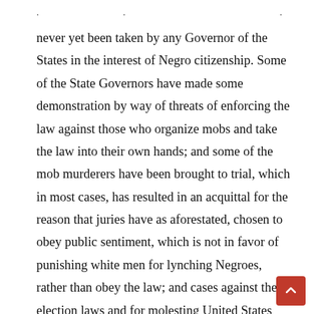. . .
never yet been taken by any Governor of the States in the interest of Negro citizenship. Some of the State Governors have made some demonstration by way of threats of enforcing the law against those who organize mobs and take the law into their own hands; and some of the mob murderers have been brought to trial, which in most cases, has resulted in an acquittal for the reason that juries have as aforestated, chosen to obey public sentiment, which is not in favor of punishing white men for lynching Negroes, rather than obey the law; and cases against the election laws and for molesting United States officials have to be tried in the district where these offences occur, and the juries being in sympathy with the criminals, usually acquit, or there is a mistrial because